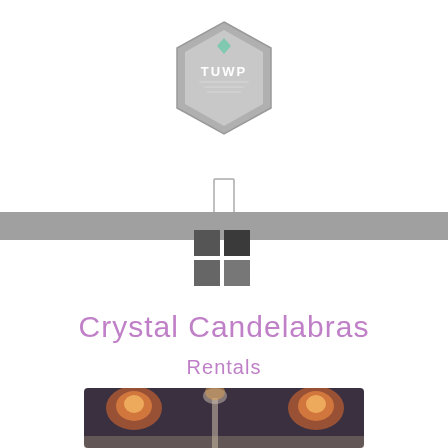[Figure (logo): Hexagonal TUWP logo badge in gray tones with small diamond icon and text inside]
[Figure (other): Small vertical rectangle outline (bookmark/placeholder icon) centered on page]
[Figure (other): Horizontal gray band across full width acting as a divider bar]
[Figure (other): 2x2 grid of dark gray squares (Windows/app grid icon) overlapping the gray bar]
Crystal Candelabras
Rentals
[Figure (photo): Dark atmospheric photo of crystal candelabras with warm glowing orange candle flames]